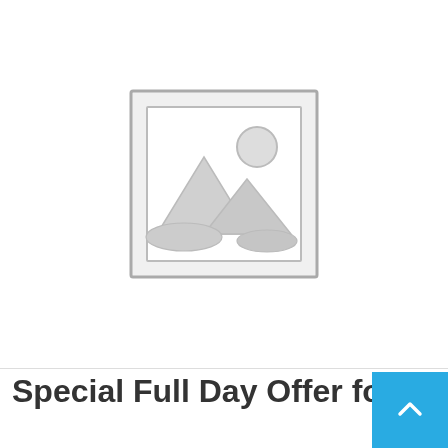[Figure (illustration): Placeholder image icon: a grey outlined square with a mountain/landscape silhouette and sun circle inside, representing a missing or unloaded image thumbnail.]
Special Full Day Offer for